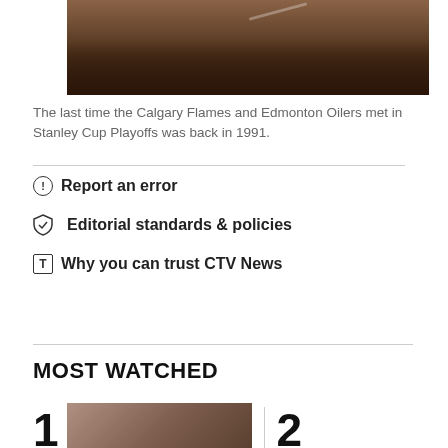[Figure (photo): Crowd at a hockey game, fans raising hands, viewed through glass boards]
The last time the Calgary Flames and Edmonton Oilers met in Stanley Cup Playoffs was back in 1991.
Report an error
Editorial standards & policies
Why you can trust CTV News
MOST WATCHED
1
[Figure (photo): Thumbnail image of a person]
2